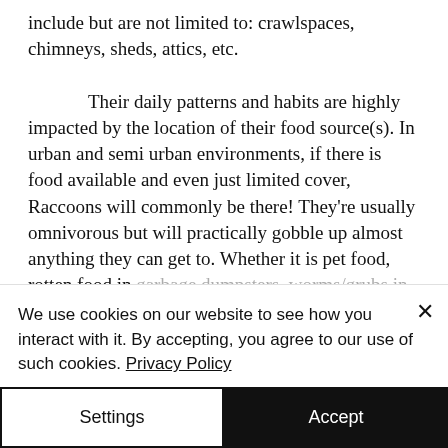include but are not limited to: crawlspaces, chimneys, sheds, attics, etc.

    Their daily patterns and habits are highly impacted by the location of their food source(s). In urban and semi urban environments, if there is food available and even just limited cover, Raccoons will commonly be there! They're usually omnivorous but will practically gobble up almost anything they can get to. Whether it is pet food, rotten food in garbage dumpsters, worms/grubs in
We use cookies on our website to see how you interact with it. By accepting, you agree to our use of such cookies. Privacy Policy